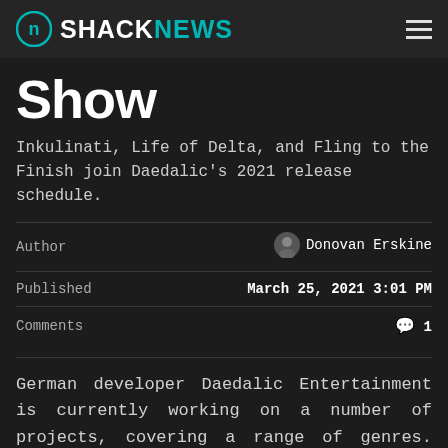SHACKNEWS
Show
Inkulinati, Life of Delta, and Fling to the Finish join Daedalic's 2021 release schedule.
|  |  |
| --- | --- |
| Author | Donovan Erskine |
| Published | March 25, 2021 3:01 PM |
| Comments | 1 |
German developer Daedalic Entertainment is currently working on a number of projects, covering a range of genres. The company recently held the Future Games Show, where it provided a fresh look at upcoming titles such as Glitchpunk, Hidden Deep, Inkulinati, and much